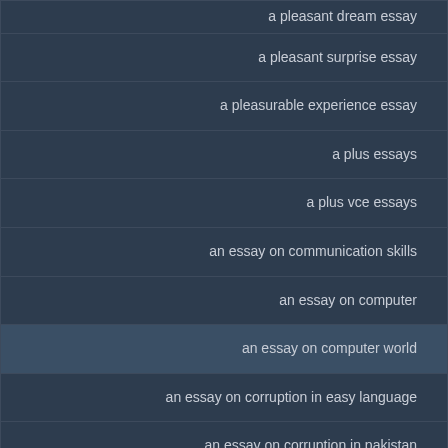| a pleasant dream essay |
| a pleasant surprise essay |
| a pleasurable experience essay |
| a plus essays |
| a plus vce essays |
| an essay on communication skills |
| an essay on computer |
| an essay on computer world |
| an essay on corruption in easy language |
| an essay on corruption in pakistan |
| an essay on crimes and punishment |